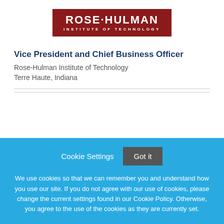[Figure (logo): Rose-Hulman Institute of Technology logo — dark red/maroon rectangle with white bold text 'ROSE·HULMAN' and subtitle 'INSTITUTE OF TECHNOLOGY']
Vice President and Chief Business Officer
Rose-Hulman Institute of Technology
Terre Haute, Indiana
Cookie Settings  Got it
We use cookies so that we can remember you and understand how you use our site. If you do not agree with our use of cookies, please change the current settings found in our Cookie Policy. Otherwise, you agree to the use of the cookies as they are currently set.